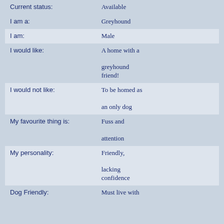| Field | Value |
| --- | --- |
| Current status: | Available |
| I am a: | Greyhound |
| I am: | Male |
| I would like: | A home with a greyhound friend! |
| I would not like: | To be homed as an only dog |
| My favourite thing is: | Fuss and attention |
| My personality: | Friendly, lacking confidence |
| Dog Friendly: | Must live with another! |